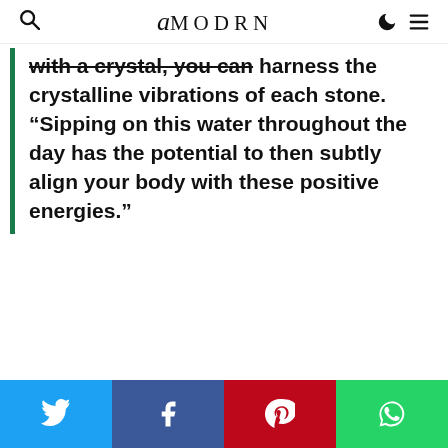AMODRN
with a crystal, you can harness the crystalline vibrations of each stone. “Sipping on this water throughout the day has the potential to then subtly align your body with these positive energies.”
[Figure (other): Social media share buttons: Twitter (blue), Facebook (dark blue), Pinterest (red), WhatsApp (green)]